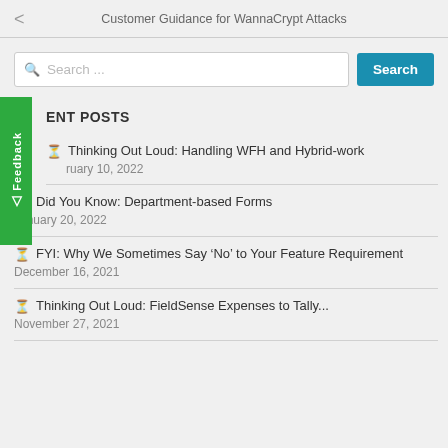Customer Guidance for WannaCrypt Attacks
Search ...
RECENT POSTS
Thinking Out Loud: Handling WFH and Hybrid-work
January 10, 2022
Did You Know: Department-based Forms
January 20, 2022
FYI: Why We Sometimes Say ‘No’ to Your Feature Requirement
December 16, 2021
Thinking Out Loud: FieldSense Expenses to Tally...
November 27, 2021